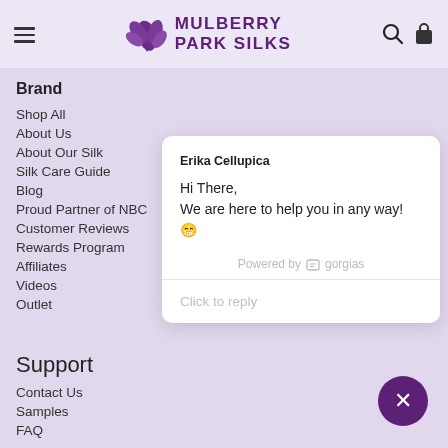Mulberry Park Silks
Brand
Shop All
About Us
About Our Silk
Silk Care Guide
Blog
Proud Partner of NBC
Customer Reviews
Rewards Program
Affiliates
Videos
Outlet
[Figure (screenshot): Chat popup from Erika Cellupica: Hi There, We are here to help you in any way! 😁 Powered by gorgias. Click to reply.]
Support
Contact Us
Samples
FAQ